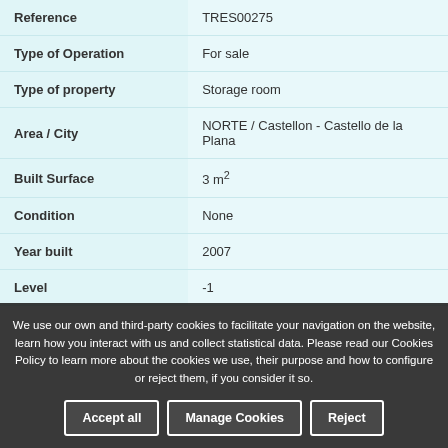| Property | Value |
| --- | --- |
| Reference | TRES00275 |
| Type of Operation | For sale |
| Type of property | Storage room |
| Area / City | NORTE / Castellon - Castello de la Plana |
| Built Surface | 3 m² |
| Condition | None |
| Year built | 2007 |
| Level | -1 |
We use our own and third-party cookies to facilitate your navigation on the website, learn how you interact with us and collect statistical data. Please read our Cookies Policy to learn more about the cookies we use, their purpose and how to configure or reject them, if you consider it so.